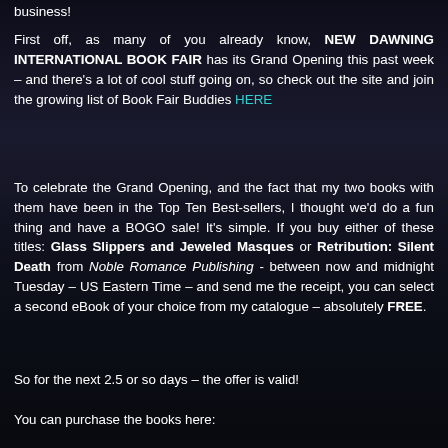business!
First off, as many of you already know, NEW DAWNING INTERNATIONAL BOOK FAIR has its Grand Opening this past week – and there's a lot of cool stuff going on, so check out the site and join the growing list of Book Fair Buddies HERE
To celebrate the Grand Opening, and the fact that my two books with them have been in the Top Ten Best-sellers, I thought we'd do a fun thing and have a BOGO sale! It's simple. If you buy either of these titles: Glass Slippers and Jeweled Masques or Retribution: Silent Death from Noble Romance Publishing - between now and midnight Tuesday – US Eastern Time – and send me the receipt, you can select a second eBook of your choice from my catalogue – absolutely FREE.
So for the next 2.5 or so days – the offer is valid!
You can purchase the books here: